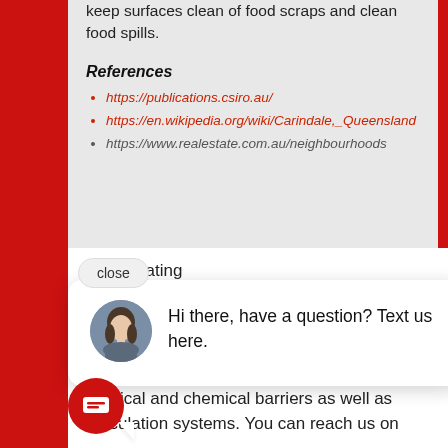keep surfaces clean of food scraps and clean food spills.
References
https://publications.csiro.au/
https://en.wikipedia.org/wiki/Carindale,_Queensland
https://www.realestate.com.au/neighbourhoods
if you are building or renovating you will need prevention solutions are available. Our company offers all types of solutions including physical and chemical barriers as well as reticulation systems. You can reach us on
[Figure (screenshot): Chat popup overlay with avatar of a woman, message 'Hi there, have a question? Text us here.', a close button, and a red circular chat icon button at the bottom left.]